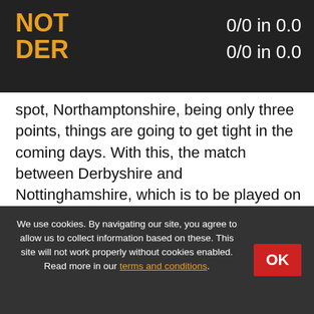NOT DER  0/0 in 0.0  0/0 in 0.0
spot, Northamptonshire, being only three points, things are going to get tight in the coming days. With this, the match between Derbyshire and Nottinghamshire, which is to be played on 16th August at the Trent Bridge in Nottingham. Trent Bridge is one of the smallest ground in England with an excellent surface to bat on. It's going to be a high-scoring game, and a treat to watch for the fans.
We use cookies. By navigating our site, you agree to allow us to collect information based on these. This site will not work properly without cookies enabled. Read more in our terms and conditions.